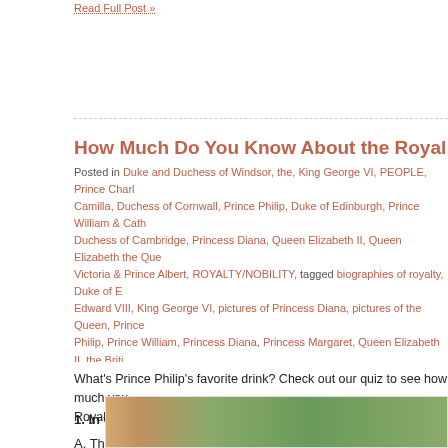Read Full Post »
How Much Do You Know About the Royal Family?
Posted in Duke and Duchess of Windsor, the, King George VI, PEOPLE, Prince Charles, Camilla, Duchess of Cornwall, Prince Philip, Duke of Edinburgh, Prince William & Catherine, Duchess of Cambridge, Princess Diana, Queen Elizabeth II, Queen Elizabeth the Queen Mother, Victoria & Prince Albert, ROYALTY/NOBILITY, tagged biographies of royalty, Duke of Edward VIII, King George VI, pictures of Princess Diana, pictures of the Queen, Prince Philip, Prince William, Princess Diana, Princess Margaret, Queen Elizabeth II, the British Royal Family, Duke and Duchess of Windsor, the Queen and corgis, the Queen Mother on January 1. Comments »
What's Prince Philip's favorite drink? Check out our quiz to see how much you know about the Royal Family:
1. In which battle did George VI fight?
A. The First Battle of Ypres
B. The Battle of Loos
C. The Battle of Jutland
D. The Battle of Tumbledown
[Figure (photo): Outdoor garden/nature photo, bottom of page]